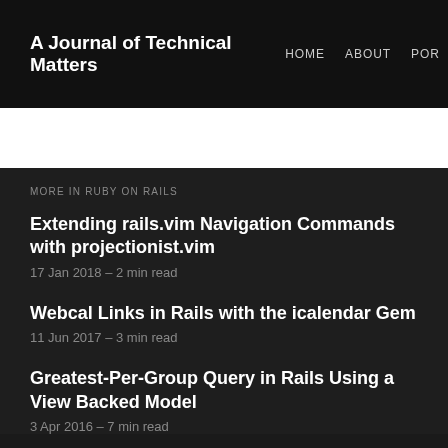A Journal of Technical Matters | HOME | ABOUT | POR
MORE IN RUBY ON RAILS
Extending rails.vim Navigation Commands with projectionist.vim
17 Jan 2018 – 2 min read
Webcal Links in Rails with the icalendar Gem
11 Jun 2017 – 3 min read
Greatest-Per-Group Query in Rails Using a View Backed Model
3 Apr 2016 – 7 min read